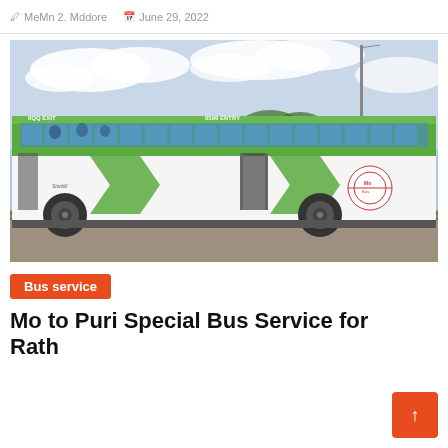MeMn 2. Mddore   June 29, 2022
[Figure (photo): A green and white city bus (Mo Bus) stopped at a bus station. The bus has 'EXIT' marked on the front section and 'ENTRY' in the middle. The bus features the Mo Bus logo. A street light pole is visible in the background along with trees and a cloudy sky.]
Bus service
Mo to Puri Special Bus Service for Rath